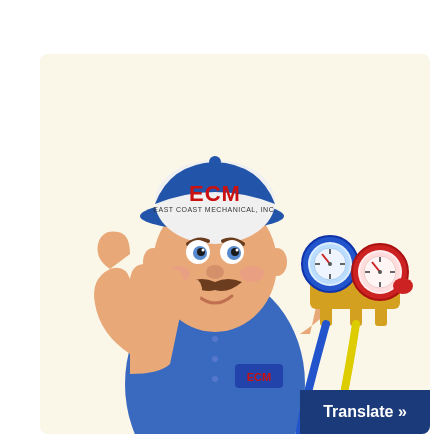[Figure (illustration): ECM (East Coast Mechanical, Inc.) cartoon mascot: a 3D animated HVAC technician in a blue uniform and white/blue cap with ECM logo in red text, giving a thumbs up with one hand and holding a refrigerant manifold gauge set (blue and red gauges with yellow and blue hoses) in the other hand. Set against a warm cream/beige background card.]
Translate »